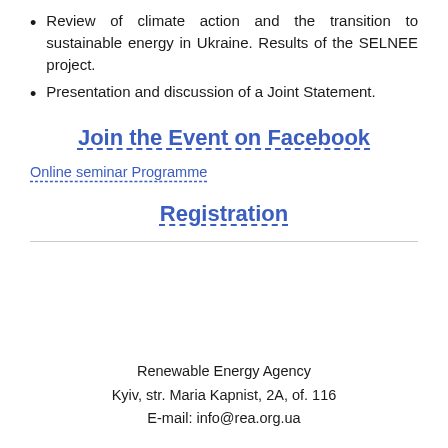Review of climate action and the transition to sustainable energy in Ukraine. Results of the SELNEE project.
Presentation and discussion of a Joint Statement.
Join the Event on Facebook
Online seminar Programme
Registration
Renewable Energy Agency
Kyiv, str. Maria Kapnist, 2A, of. 116
E-mail: info@rea.org.ua